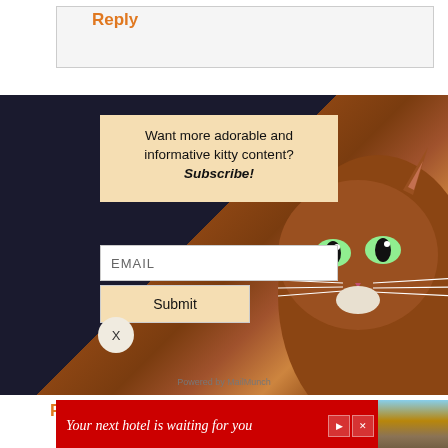Reply
[Figure (screenshot): Email subscription popup with a cat in the background on a dark navy background. Contains a beige subscription box with text 'Want more adorable and informative kitty content? Subscribe!', an EMAIL input field, a Submit button, and a close X button.]
Want more adorable and informative kitty content? Subscribe!
EMAIL
Submit
X
Powered by MailMunch
Reply
X
Your next hotel is waiting for you